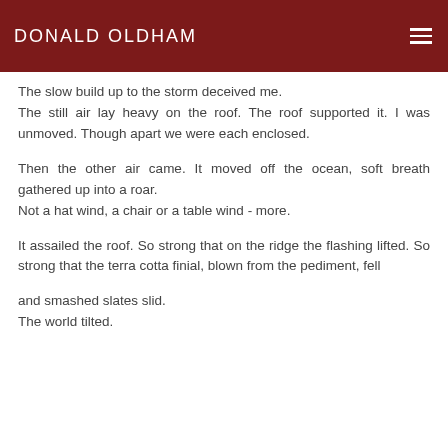DONALD OLDHAM
The slow build up to the storm deceived me.
The still air lay heavy on the roof. The roof supported it. I was unmoved. Though apart we were each enclosed.
Then the other air came. It moved off the ocean, soft breath gathered up into a roar.
Not a hat wind, a chair or a table wind - more.
It assailed the roof. So strong that on the ridge the flashing lifted. So strong that the terra cotta finial, blown from the pediment, fell
and smashed slates slid.
The world tilted.